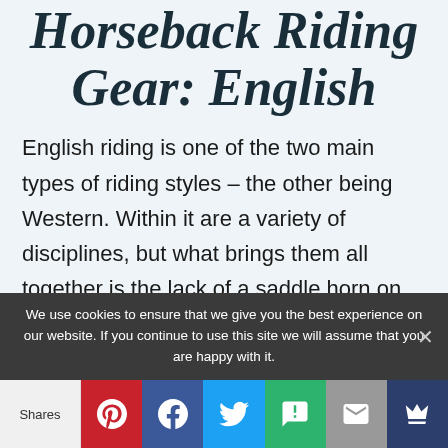Horseback Riding Gear: English
English riding is one of the two main types of riding styles – the other being Western. Within it are a variety of disciplines, but what brings them all together is the lack of a saddle horn on the horse's saddle.
We use cookies to ensure that we give you the best experience on our website. If you continue to use this site we will assume that you are happy with it.